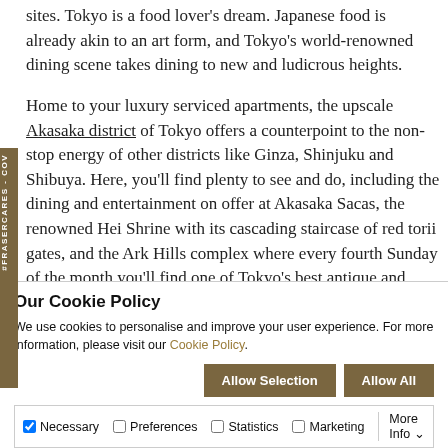sites. Tokyo is a food lover's dream. Japanese food is already akin to an art form, and Tokyo's world-renowned dining scene takes dining to new and ludicrous heights.
Home to your luxury serviced apartments, the upscale Akasaka district of Tokyo offers a counterpoint to the non-stop energy of other districts like Ginza, Shinjuku and Shibuya. Here, you'll find plenty to see and do, including the dining and entertainment on offer at Akasaka Sacas, the renowned Hei Shrine with its cascading staircase of red torii gates, and the Ark Hills complex where every fourth Sunday of the month you'll find one of Tokyo's best antique and artisan crafts markets.
Our Cookie Policy
We use cookies to personalise and improve your user experience. For more information, please visit our Cookie Policy.